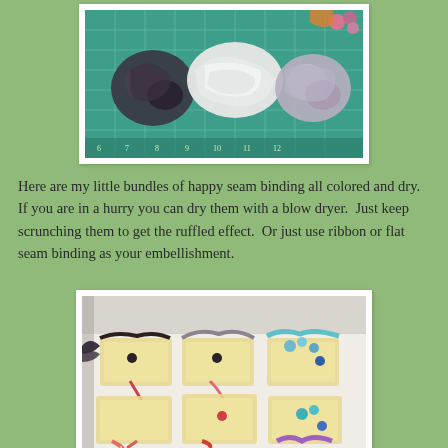[Figure (photo): Photo of three bundles of ruffled seam binding on a green cutting mat - dark gray/black bundle on left, white crinkled bundle in center, light lavender/gray bundle on right. Colorful flowers visible in top right corner.]
Here are my little bundles of happy seam binding all colored and dry.  If you are in a hurry you can dry them with a blow dryer.  Just keep scrunching them to get the ruffled effect.  Or just use ribbon or flat seam binding as your embellishment.
[Figure (photo): Photo of multiple completed sachets or small fabric pouches arranged on a white surface. The pouches are made with lace fabric and decorated with colorful ruffled seam binding in various colors including red/pink, blue/teal, and purple. Black bottle caps or buttons are visible on some pieces.]